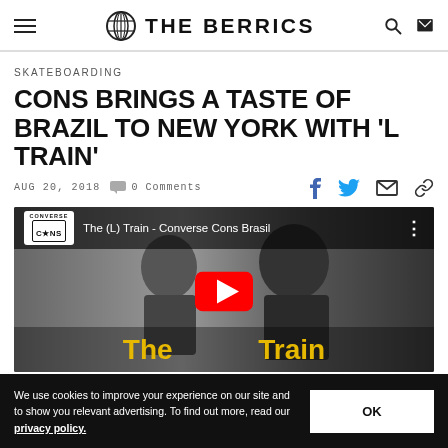THE BERRICS
SKATEBOARDING
CONS BRINGS A TASTE OF BRAZIL TO NEW YORK WITH 'L TRAIN'
AUG 20, 2018   0 Comments
[Figure (screenshot): YouTube video thumbnail for 'The (L) Train - Converse Cons Brasil' showing two skateboarders in black and white with YouTube play button and golden text overlay reading 'The (L) Train']
We use cookies to improve your experience on our site and to show you relevant advertising. To find out more, read our privacy policy.